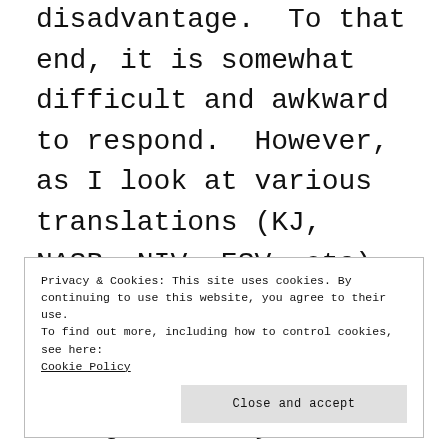disadvantage.  To that end, it is somewhat difficult and awkward to respond.  However, as I look at various translations (KJ, NASB, NIV, ESV, etc), it is apparent that none of them draw out these Calvinistic thoughts.  Why didn't any of these Bible translators include the Calvinistic? Could it be that the
Privacy & Cookies: This site uses cookies. By continuing to use this website, you agree to their use.
To find out more, including how to control cookies, see here: Cookie Policy